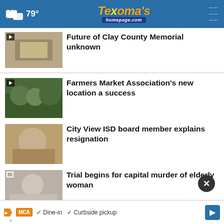79° Texoma's homepage.com
Future of Clay County Memorial unknown
Farmers Market Association's new location a success
City View ISD board member explains resignation
Trial begins for capital murder of elderly woman
Burglary suspect warns of acid rain
Possible threat in Waurika leads to
[Figure (screenshot): Advertisement bar with MCA logo, Dine-in and Curbside pickup checkmarks, and a navigation arrow button]